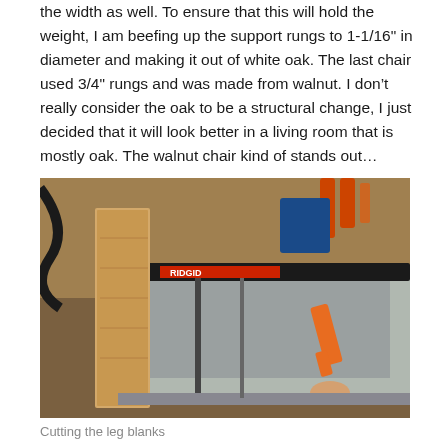the width as well. To ensure that this will hold the weight, I am beefing up the support rungs to 1-1/16" in diameter and making it out of white oak. The last chair used 3/4" rungs and was made from walnut. I don't really consider the oak to be a structural change, I just decided that it will look better in a living room that is mostly oak. The walnut chair kind of stands out…
[Figure (photo): A photograph of a table saw being used to cut leg blanks from a piece of white oak lumber. The saw fence is visible along with an orange push stick and various workshop tools in the background.]
Cutting the leg blanks